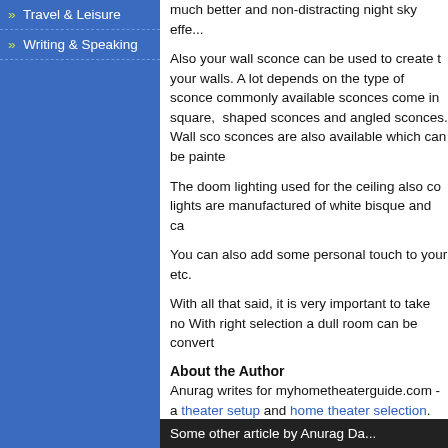» Travel & Leisure
» Writing & Speaking
much better and non-distracting night sky effe...
Also your wall sconce can be used to create t... your walls. A lot depends on the type of sconce... commonly available sconces come in square, ... shaped sconces and angled sconces. Wall sco... sconces are also available which can be painte...
The doom lighting used for the ceiling also co... lights are manufactured of white bisque and ca...
You can also add some personal touch to your... etc.
With all that said, it is very important to take no... With right selection a dull room can be convert...
About the Author
Anurag writes for myhometheaterguide.com - a... theater setup and home theater selection. Also...
Article Source: http://www.simplysearch4it.com...
If you wish to add the above article to your we... Source: http://www.simplysearch4it.com/article...
Some other article by Anurag Da...